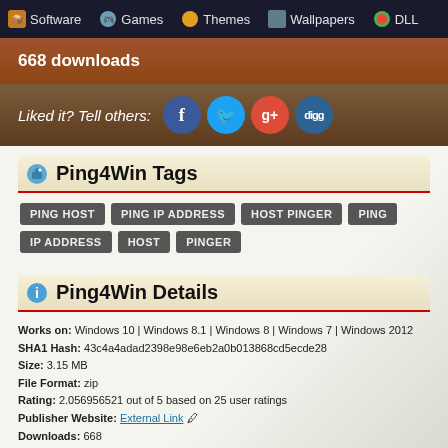Software | Games | Themes | Wallpapers | DLL
668 downloads
Liked it? Tell others: [Facebook] [Twitter] [Google+] [Digg]
Ping4Win Tags
PING HOST
PING IP ADDRESS
HOST PINGER
PING
IP ADDRESS
HOST
PINGER
Ping4Win Details
Works on: Windows 10 | Windows 8.1 | Windows 8 | Windows 7 | Windows 2012
SHA1 Hash: 43c4a4adad2398e98e6eb2a0b013868cd5ecde28
Size: 3.15 MB
File Format: zip
Rating: 2.056956521 out of 5 based on 25 user ratings
Publisher Website: External Link
Downloads: 668
License: Free
Ping4Win is a free software by Geir Rune Grå,tan and works on Windows 10, Windows 8.1, Windows 8, Windows 7, Windows 2012. You can download Ping4Win which is 3.15 MB in size and belongs to